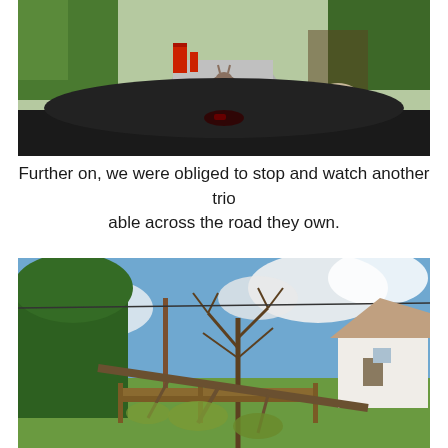[Figure (photo): View from inside a car dashboard looking through the windscreen at a narrow country road. A donkey stands in the centre of the road near a red British telephone box and a red post box. Another dark-coloured animal is on the left side of the road. A third animal is visible on the right side. Green hedges and trees line the road.]
Further on, we were obliged to stop and watch another trio able across the road they own.
[Figure (photo): Outdoor countryside scene showing a fallen tree across a wooden gate or fence structure in the foreground. Bare winter trees stand in the background against a partly cloudy blue sky. A white house is visible on the right side. Green hedgerows and grass surround the scene.]